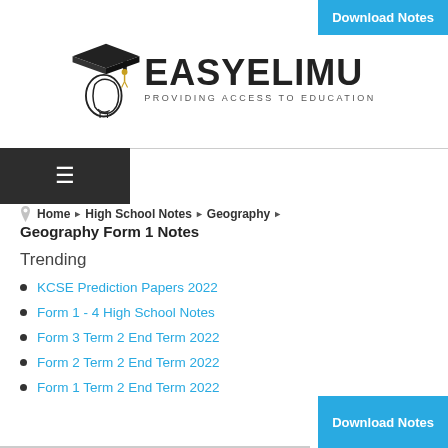[Figure (logo): Easyelimu logo with graduation cap icon and tagline 'PROVIDING ACCESS TO EDUCATION']
Download Notes
≡ (hamburger menu)
Home ▶ High School Notes ▶ Geography ▶
Geography Form 1 Notes
Trending
KCSE Prediction Papers 2022
Form 1 - 4 High School Notes
Form 3 Term 2 End Term 2022
Form 2 Term 2 End Term 2022
Form 1 Term 2 End Term 2022
Download Notes